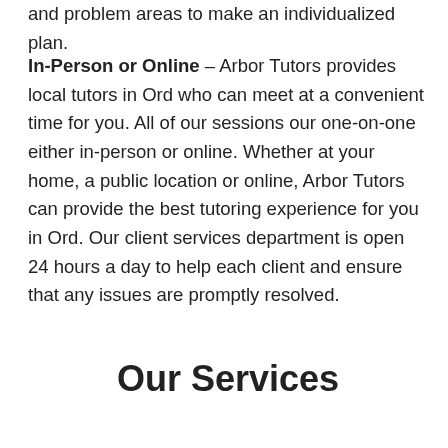and problem areas to make an individualized plan.
In-Person or Online – Arbor Tutors provides local tutors in Ord who can meet at a convenient time for you. All of our sessions our one-on-one either in-person or online. Whether at your home, a public location or online, Arbor Tutors can provide the best tutoring experience for you in Ord. Our client services department is open 24 hours a day to help each client and ensure that any issues are promptly resolved.
Our Services